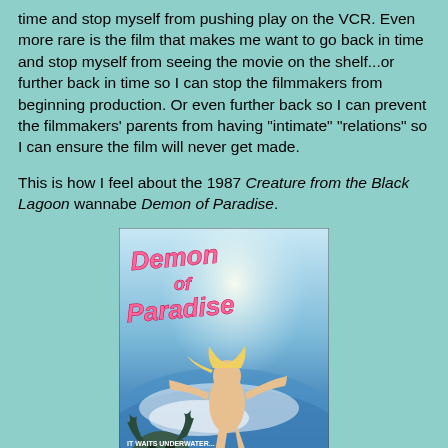time and stop myself from pushing play on the VCR. Even more rare is the film that makes me want to go back in time and stop myself from seeing the movie on the shelf...or further back in time so I can stop the filmmakers from beginning production. Or even further back so I can prevent the filmmakers' parents from having "intimate" "relations" so I can ensure the film will never get made.
This is how I feel about the 1987 Creature from the Black Lagoon wannabe Demon of Paradise.
[Figure (photo): Movie poster for 'Demon of Paradise' (1987) showing a woman in water with a monster creature, with the text 'IT WAITS UNDERWATER... TO SKIN YOU ALIVE!' at the bottom left.]